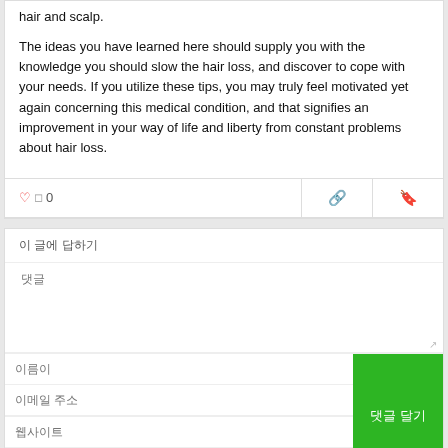hair and scalp.
The ideas you have learned here should supply you with the knowledge you should slow the hair loss, and discover to cope with your needs. If you utilize these tips, you may truly feel motivated yet again concerning this medical condition, and that signifies an improvement in your way of life and liberty from constant problems about hair loss.
[Figure (screenshot): Action bar with like button showing 0, and two icon buttons for share/bookmark]
이 글에 답하기
댓글
이름이
이메일 주소
웹사이트
http://